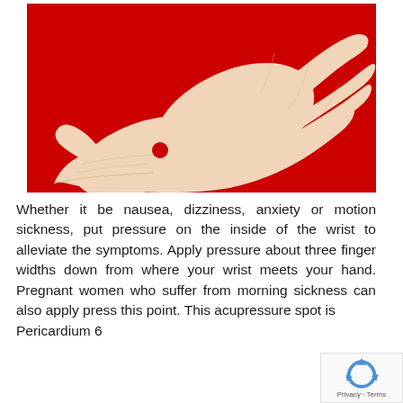[Figure (photo): A human hand and wrist shown palm-up against a red background, with a red dot marking an acupressure point on the inside of the wrist, approximately three finger widths below where the wrist meets the hand (Pericardium 6 point).]
Whether it be nausea, dizziness, anxiety or motion sickness, put pressure on the inside of the wrist to alleviate the symptoms. Apply pressure about three finger widths down from where your wrist meets your hand. Pregnant women who suffer from morning sickness can also apply press this point. This acupressure spot is Pericardium 6